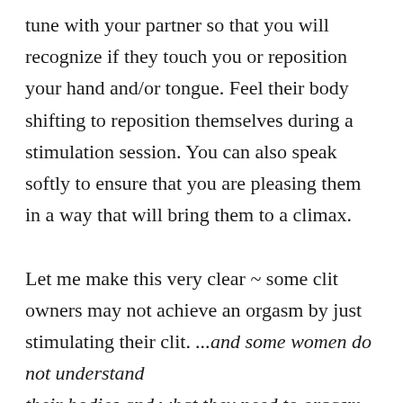tune with your partner so that you will recognize if they touch you or reposition your hand and/or tongue. Feel their body shifting to reposition themselves during a stimulation session. You can also speak softly to ensure that you are pleasing them in a way that will bring them to a climax.

Let me make this very clear ~ some clit owners may not achieve an orgasm by just stimulating their clit. ...and some women do not understand their bodies and what they need to orgasm...